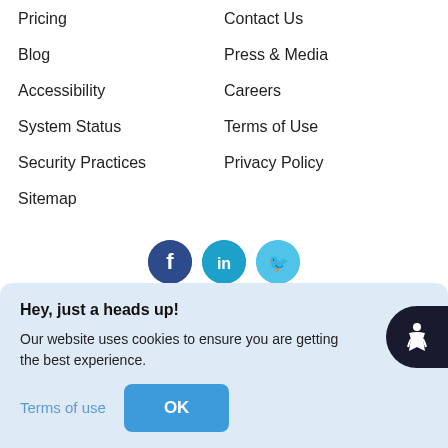Pricing
Contact Us
Blog
Press & Media
Accessibility
Careers
System Status
Terms of Use
Security Practices
Privacy Policy
Sitemap
[Figure (infographic): Social media icons: Facebook (dark blue circle), LinkedIn (teal circle), Twitter (light blue circle)]
Copyleaks Technologies LTD
Hey, just a heads up!
Our website uses cookies to ensure you are getting the best experience.
Terms of use
OK
All r...
Ter...